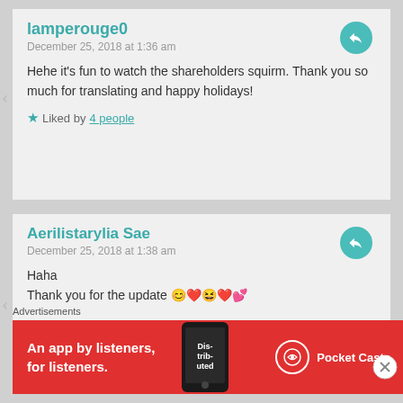lamperouge0
December 25, 2018 at 1:36 am
Hehe it’s fun to watch the shareholders squirm. Thank you so much for translating and happy holidays!
Liked by 4 people
Aerilistarylia Sae
December 25, 2018 at 1:38 am
Haha
Thank you for the update 😊❤️😄❤️💕
Advertisements
[Figure (other): Pocket Casts advertisement banner: red background with white text 'An app by listeners, for listeners.' and Pocket Casts logo on right, phone image in center]